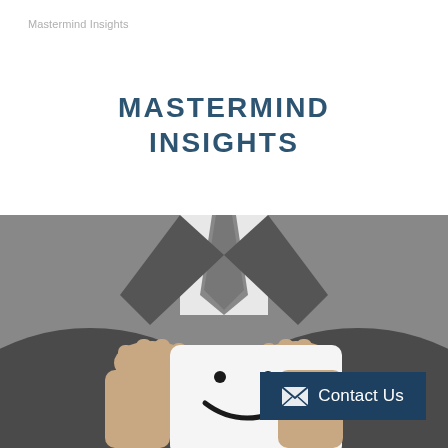Mastermind Insights
MASTERMIND INSIGHTS
[Figure (photo): Business professional in suit and tie holding a white card with a smiley face drawn on it, black and white photograph]
Contact Us